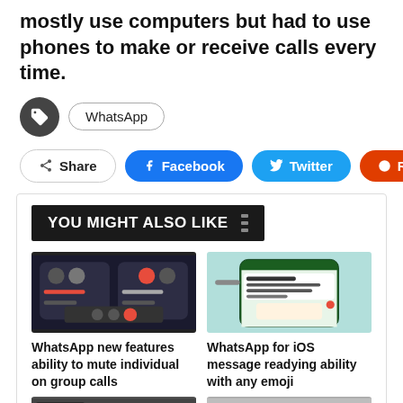mostly use computers but had to use phones to make or receive calls every time.
WhatsApp
Share | Facebook | Twitter | Reddit
YOU MIGHT ALSO LIKE
[Figure (screenshot): Screenshot of WhatsApp group call screen on dark background]
WhatsApp new features ability to mute individual on group calls
[Figure (screenshot): Screenshot of WhatsApp for iOS chat screen with emoji reactions]
WhatsApp for iOS message readying ability with any emoji